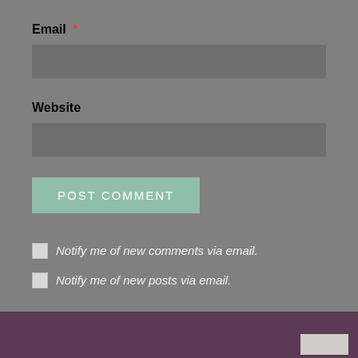Email *
[Figure (screenshot): Empty text input field for email]
Website
[Figure (screenshot): Empty text input field for website]
POST COMMENT
Notify me of new comments via email.
Notify me of new posts via email.